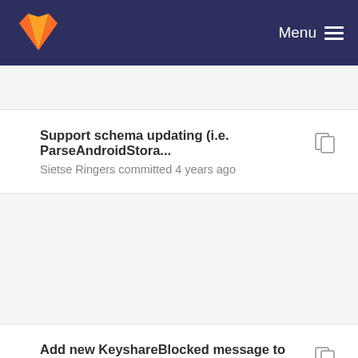Menu
Support schema updating (i.e. ParseAndroidStora...
Sietse Ringers committed 4 years ago
Add new KeyshareBlocked message to session h...
Sietse Ringers committed 4 years ago